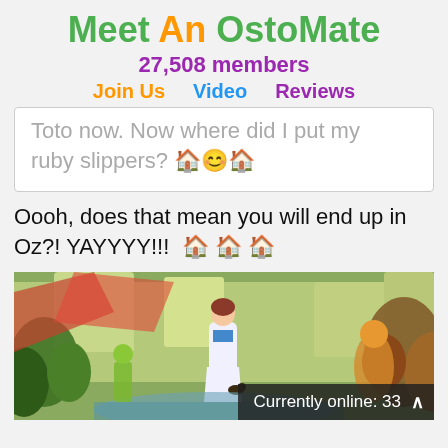Meet An OstoMate
27,508 members
Join Us  Video  Reviews
Toto now. Now where did I put my ruby slippers? 🏠😊🏠
Oooh, does that mean you will end up in Oz?! YAYYYY!!!  🏠🏠🏠
[Figure (photo): A colorful still from The Wizard of Oz showing Dorothy in her blue and white dress holding Toto, surrounded by colorful characters and scenery.]
Currently online: 33